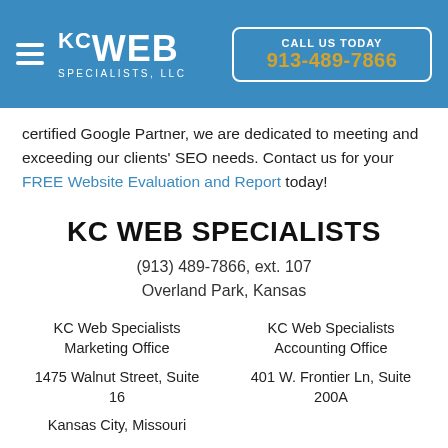KC WEB SPECIALISTS, LLC | CALL US TODAY 913-489-7866
certified Google Partner, we are dedicated to meeting and exceeding our clients' SEO needs. Contact us for your FREE Website Evaluation and Report today!
KC WEB SPECIALISTS
(913) 489-7866, ext. 107
Overland Park, Kansas
KC Web Specialists Marketing Office
1475 Walnut Street, Suite 16
Kansas City, Missouri
KC Web Specialists Accounting Office
401 W. Frontier Ln, Suite 200A